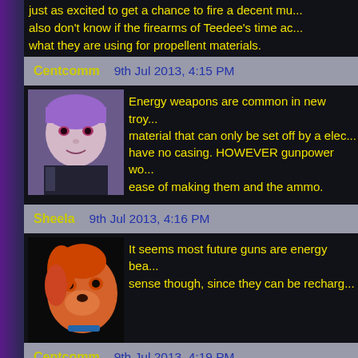just as excited to get a chance to fire a decent mu... also don't know if the firearms of Teedee's time ac... what they are using for propellent materials.
Centcomm   9th Jul 2013, 4:15 PM
Energy weapons are common in new troy... material that can only be set off by a elec... have no casing. HOWEVER gunpower wo... ease of making them and the ammo.
Sheela   9th Jul 2013, 4:16 PM
It seems most future guns are energy bea... sense though, since they can be recharg...
Centcomm   9th Jul 2013, 4:19 PM
actually a Androids power plant is a close... the field is portable fusion batterys and so...
Guest   9th Jul 2013, 2:41 PM
Not going to get too much luck from a female sans...
Centcomm   9th Jul 2013, 4:20 PM